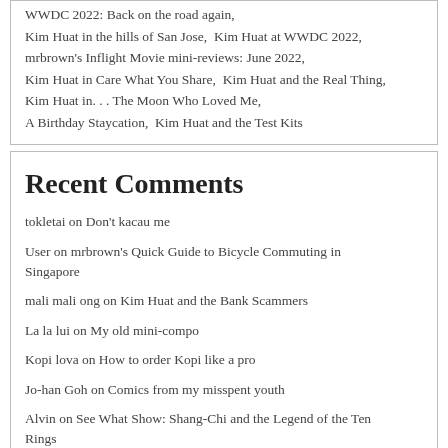WWDC 2022: Back on the road again, Kim Huat in the hills of San Jose, Kim Huat at WWDC 2022, mrbrown's Inflight Movie mini-reviews: June 2022, Kim Huat in Care What You Share, Kim Huat and the Real Thing, Kim Huat in... The Moon Who Loved Me, A Birthday Staycation, Kim Huat and the Test Kits
Recent Comments
tokletai on Don't kacau me
User on mrbrown's Quick Guide to Bicycle Commuting in Singapore
mali mali ong on Kim Huat and the Bank Scammers
La la lui on My old mini-compo
Kopi lova on How to order Kopi like a pro
Jo-han Goh on Comics from my misspent youth
Alvin on See What Show: Shang-Chi and the Legend of the Ten Rings